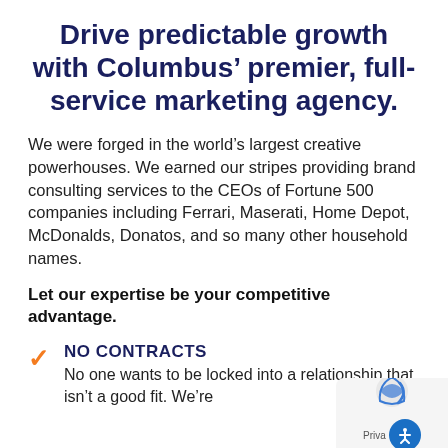Drive predictable growth with Columbus’ premier, full-service marketing agency.
We were forged in the world’s largest creative powerhouses. We earned our stripes providing brand consulting services to the CEOs of Fortune 500 companies including Ferrari, Maserati, Home Depot, McDonalds, Donatos, and so many other household names.
Let our expertise be your competitive advantage.
NO CONTRACTS
No one wants to be locked into a relationship that isn’t a good fit. We’re